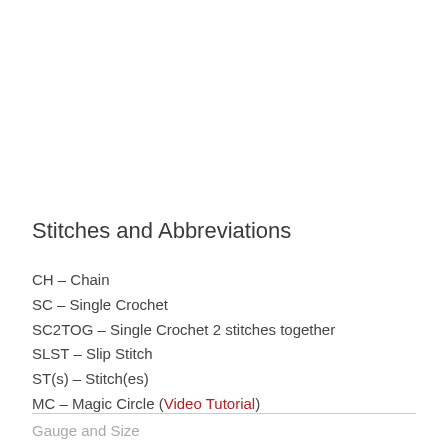Stitches and Abbreviations
CH – Chain
SC – Single Crochet
SC2TOG – Single Crochet 2 stitches together
SLST – Slip Stitch
ST(s) – Stitch(es)
MC – Magic Circle (Video Tutorial)
Gauge and Size